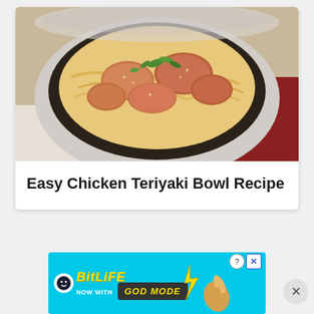[Figure (photo): A bowl of chicken teriyaki with noodles and green herbs, photographed from above on a white marble surface]
Easy Chicken Teriyaki Bowl Recipe
[Figure (screenshot): BitLife advertisement banner - 'NOW WITH GOD MODE' with cartoon hand pointing, on cyan background. Has question mark and X close buttons.]